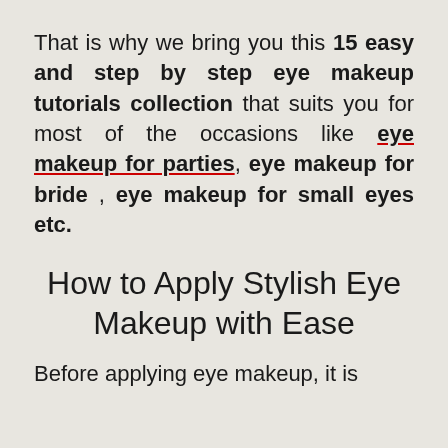That is why we bring you this 15 easy and step by step eye makeup tutorials collection that suits you for most of the occasions like eye makeup for parties, eye makeup for bride , eye makeup for small eyes etc.
How to Apply Stylish Eye Makeup with Ease
Before applying eye makeup, it is